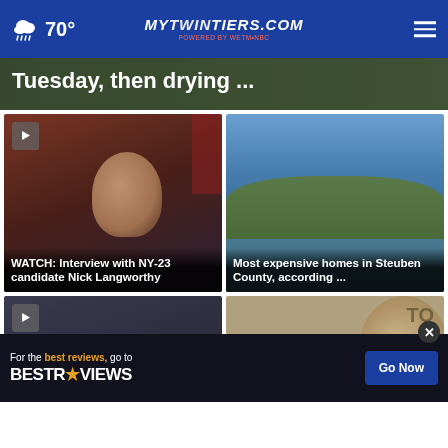70° myTwinTiers.com
Tuesday, then drying ...
[Figure (photo): Video thumbnail of man being interviewed outdoors near red building]
WATCH: Interview with NY-23 candidate Nick Langworthy
[Figure (photo): Aerial photo of a lake with hills in the background under blue sky]
Most expensive homes in Steuben County, according ...
[Figure (photo): Video thumbnail of city buildings]
[Figure (photo): Close-up of coin or token with TO visible]
For the best reviews, go to BESTREVIEWS Go Now